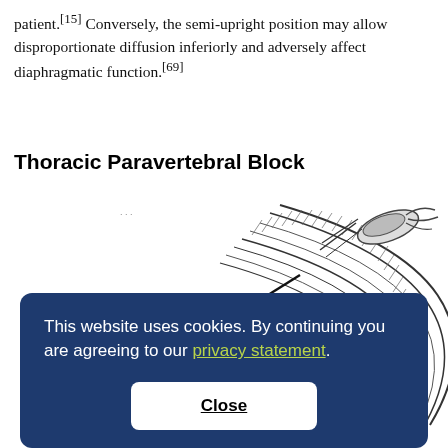patient.[15] Conversely, the semi-upright position may allow disproportionate diffusion inferiorly and adversely affect diaphragmatic function.[69]
Thoracic Paravertebral Block
[Figure (illustration): Anatomical illustration of thoracic paravertebral region showing layered fascial structures with labels for 'acic Fascia' and 's Fascia', with a nerve/rib cross-section depicted.]
This website uses cookies. By continuing you are agreeing to our privacy statement.
Close